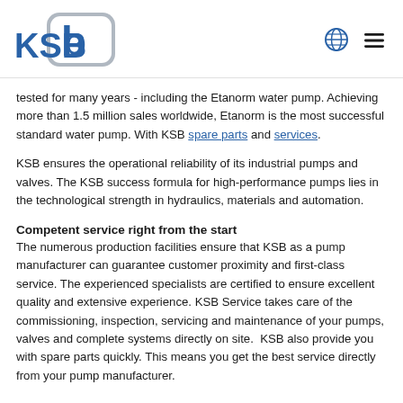KSB logo with globe and menu icons
tested for many years - including the Etanorm water pump. Achieving more than 1.5 million sales worldwide, Etanorm is the most successful standard water pump. With KSB spare parts and services.
KSB ensures the operational reliability of its industrial pumps and valves. The KSB success formula for high-performance pumps lies in the technological strength in hydraulics, materials and automation.
Competent service right from the start
The numerous production facilities ensure that KSB as a pump manufacturer can guarantee customer proximity and first-class service. The experienced specialists are certified to ensure excellent quality and extensive experience. KSB Service takes care of the commissioning, inspection, servicing and maintenance of your pumps, valves and complete systems directly on site. KSB also provide you with spare parts quickly. This means you get the best service directly from your pump manufacturer.